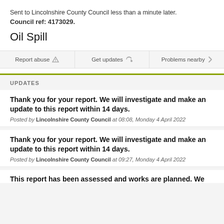Sent to Lincolnshire County Council less than a minute later.
Council ref: 4173029.
Oil Spill
Report abuse | Get updates | Problems nearby
UPDATES
Thank you for your report. We will investigate and make an update to this report within 14 days.
Posted by Lincolnshire County Council at 08:08, Monday 4 April 2022
Thank you for your report. We will investigate and make an update to this report within 14 days.
Posted by Lincolnshire County Council at 09:27, Monday 4 April 2022
This report has been assessed and works are planned. We